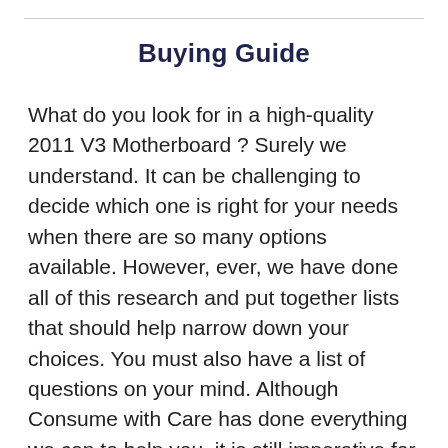Buying Guide
What do you look for in a high-quality 2011 V3 Motherboard ? Surely we understand. It can be challenging to decide which one is right for your needs when there are so many options available. However, ever, we have done all of this research and put together lists that should help narrow down your choices. You must also have a list of questions on your mind. Although Consume with Care has done everything we can to help you, it is still imperative for you to do your own research. You need to check out any relevant 2011 V3 Motherboard before buying them, so they are exactly what you